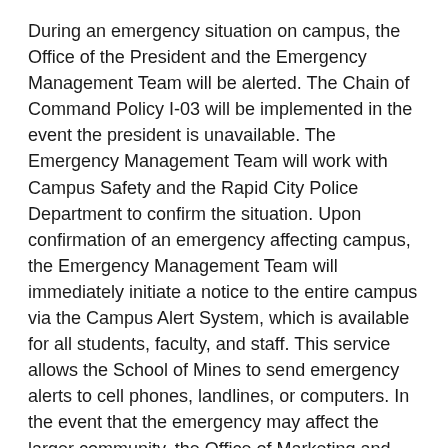During an emergency situation on campus, the Office of the President and the Emergency Management Team will be alerted. The Chain of Command Policy I-03 will be implemented in the event the president is unavailable. The Emergency Management Team will work with Campus Safety and the Rapid City Police Department to confirm the situation. Upon confirmation of an emergency affecting campus, the Emergency Management Team will immediately initiate a notice to the entire campus via the Campus Alert System, which is available for all students, faculty, and staff. This service allows the School of Mines to send emergency alerts to cell phones, landlines, or computers. In the event that the emergency may affect the larger community, the Office of Marketing and Communications will notify the proper media outlets. The Campus Alerts Policy VII-01 is available at the Health and Safety section of the SD Mines Policy Manual.
The School of Mines Emergency Management Team will, without delay and taking into account the safety of the